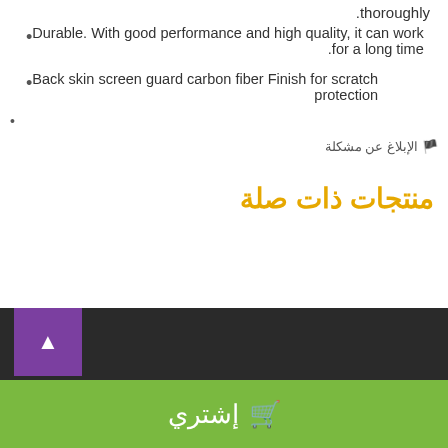.thoroughly
Durable. With good performance and high quality, it can work .for a long time
Back skin screen guard carbon fiber Finish for scratch protection
الإبلاغ عن مشكلة
منتجات ذات صلة
إشتري